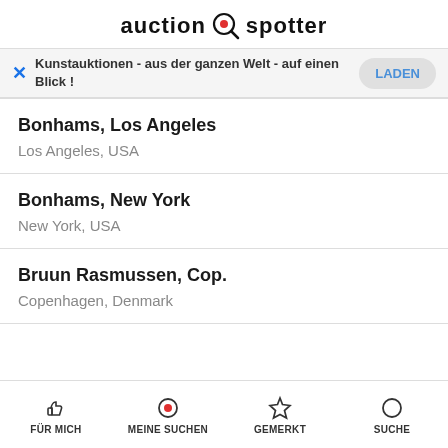[Figure (logo): Auction Spotter logo with magnifier icon containing a red dot]
Kunstauktionen - aus der ganzen Welt - auf einen Blick !
Bonhams, Los Angeles
Los Angeles, USA
Bonhams, New York
New York, USA
Bruun Rasmussen, Cop.
Copenhagen, Denmark
FÜR MICH  MEINE SUCHEN  GEMERKT  SUCHE